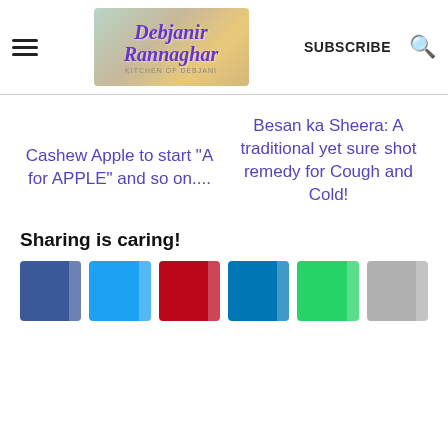Debjanir Rannaghar – KITCHEN OF DEBJANI | SUBSCRIBE
Cashew Apple to start "A for APPLE" and so on....
Besan ka Sheera: A traditional yet sure shot remedy for Cough and Cold!
Sharing is caring!